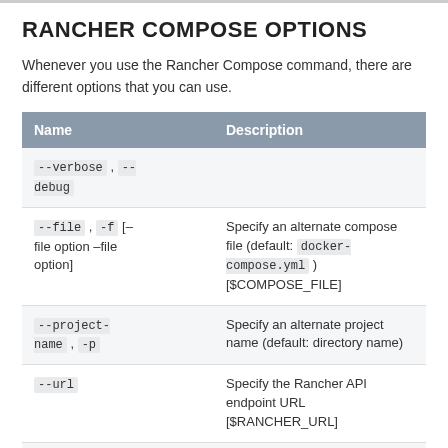RANCHER COMPOSE OPTIONS
Whenever you use the Rancher Compose command, there are different options that you can use.
| Name | Description |
| --- | --- |
| --verbose , --debug |  |
| --file , -f [–file option –file option] | Specify an alternate compose file (default: docker-compose.yml ) [$COMPOSE_FILE] |
| --project-name , -p | Specify an alternate project name (default: directory name) |
| --url | Specify the Rancher API endpoint URL [$RANCHER_URL] |
| --access-key | Specify Rancher API access key [$RANCHER_ACCESS_KEY] |